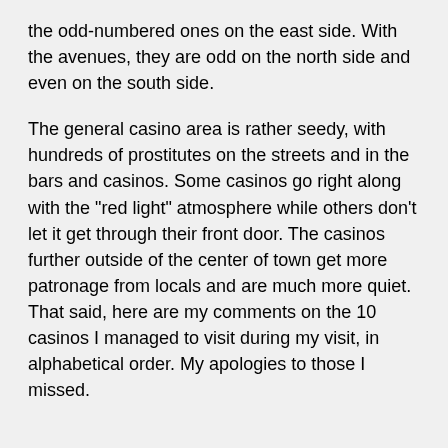the odd-numbered ones on the east side. With the avenues, they are odd on the north side and even on the south side.
The general casino area is rather seedy, with hundreds of prostitutes on the streets and in the bars and casinos. Some casinos go right along with the "red light" atmosphere while others don't let it get through their front door. The casinos further outside of the center of town get more patronage from locals and are much more quiet. That said, here are my comments on the 10 casinos I managed to visit during my visit, in alphabetical order. My apologies to those I missed.
Casino Amon in the Mona Lisa Hotel
This quiet casino is located near the intersection of Calle 8, between Avenidas 1 and 3 in San Jose. While still in downtown, it is several blocks west of the main cluster of casinos.
I was there late on a Sunday night, and it was quiet and